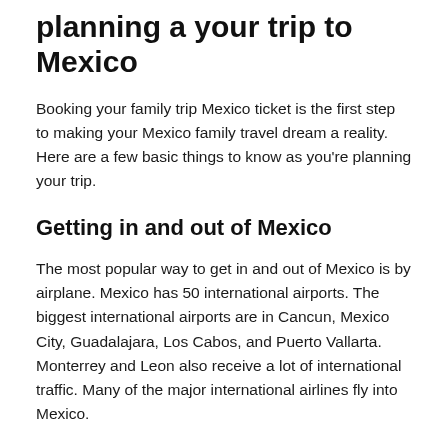planning a your trip to Mexico
Booking your family trip Mexico ticket is the first step to making your Mexico family travel dream a reality. Here are a few basic things to know as you're planning your trip.
Getting in and out of Mexico
The most popular way to get in and out of Mexico is by airplane. Mexico has 50 international airports. The biggest international airports are in Cancun, Mexico City, Guadalajara, Los Cabos, and Puerto Vallarta. Monterrey and Leon also receive a lot of international traffic. Many of the major international airlines fly into Mexico.
An alternative way to enter Mexico is via the land borders. Border crossings can be found across the